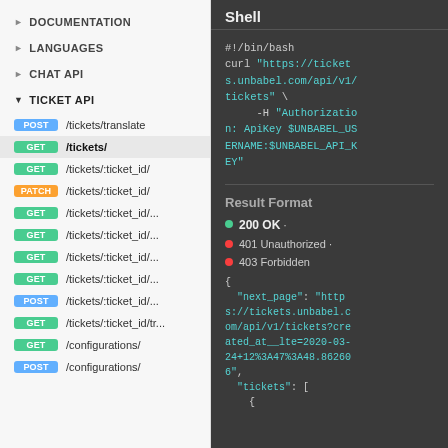DOCUMENTATION
LANGUAGES
CHAT API
TICKET API
POST /tickets/translate
GET /tickets/
GET /tickets/:ticket_id/
PATCH /tickets/:ticket_id/
GET /tickets/:ticket_id/...
GET /tickets/:ticket_id/...
GET /tickets/:ticket_id/...
GET /tickets/:ticket_id/...
POST /tickets/:ticket_id/...
GET /tickets/:ticket_id/tr...
GET /configurations/
POST /configurations/
Shell
#!/bin/bash
curl "https://tickets.unbabel.com/api/v1/tickets" \
    -H "Authorization: ApiKey $UNBABEL_USERNAME:$UNBABEL_API_KEY"
Result Format
200 OK
401 Unauthorized
403 Forbidden
{
  "next_page": "https://tickets.unbabel.com/api/v1/tickets?created_at__lte=2020-03-24+12%3A47%3A48.862606",
  "tickets": [
    {